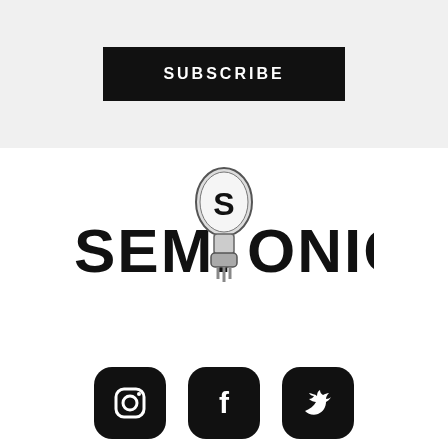SUBSCRIBE
[Figure (logo): Semisonic band logo with a vacuum tube in the center replacing the letter O, bold arched lettering reading SEMI and ONIC on either side]
[Figure (infographic): Three social media icons: Instagram, Facebook, and Twitter — white icons on black rounded-square backgrounds]